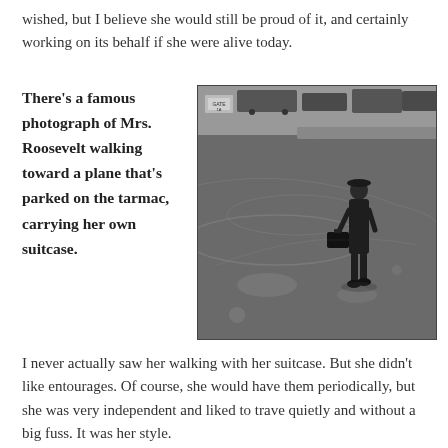wished, but I believe she would still be proud of it, and certainly working on its behalf if she were alive today.
There's a famous photograph of Mrs. Roosevelt walking toward a plane that's parked on the tarmac, carrying her own suitcase.
[Figure (photo): Black and white photograph of a woman (Mrs. Roosevelt) walking alone across an airport tarmac toward a plane, carrying her own suitcase. Vehicles and a gate sign are visible in the background.]
I never actually saw her walking with her suitcase. But she didn't like entourages. Of course, she would have them periodically, but she was very independent and liked to travel quietly and without a big fuss. It was her style.